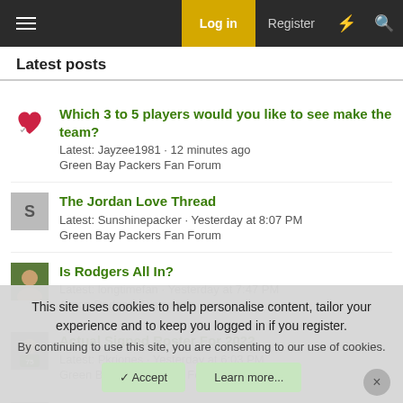Log in  Register
Latest posts
Which 3 to 5 players would you like to see make the team? Latest: Jayzee1981 · 12 minutes ago Green Bay Packers Fan Forum
The Jordan Love Thread Latest: Sunshinepacker · Yesterday at 8:07 PM Green Bay Packers Fan Forum
Is Rodgers All In? Latest: longtimefan · Yesterday at 7:47 PM Aaron Rodgers Discusson
Actual Signed Roster For 2022 Latest: Pkrjones · Yesterday at 6:03 PM Green Bay Packers Fan Forum
Badger Football 2022
This site uses cookies to help personalise content, tailor your experience and to keep you logged in if you register. By continuing to use this site, you are consenting to our use of cookies.